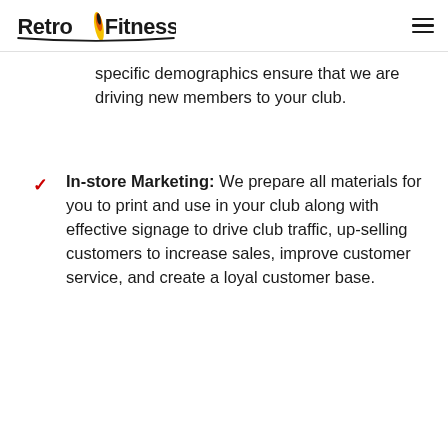Retro Fitness
specific demographics ensure that we are driving new members to your club.
In-store Marketing: We prepare all materials for you to print and use in your club along with effective signage to drive club traffic, up-selling customers to increase sales, improve customer service, and create a loyal customer base.